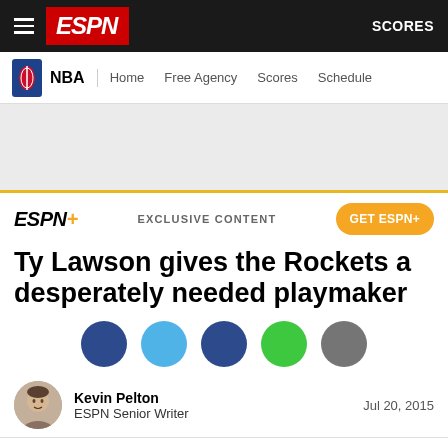ESPN | NBA | Home Free Agency Scores Schedule | SCORES
[Figure (logo): ESPN+ exclusive content banner with GET ESPN+ button]
Ty Lawson gives the Rockets a desperately needed playmaker
[Figure (infographic): Social sharing icons: Facebook (dark blue), Twitter (light blue), another social (dark blue), WhatsApp (green), more options (gray)]
Kevin Pelton
ESPN Senior Writer
Jul 20, 2015
The Deal